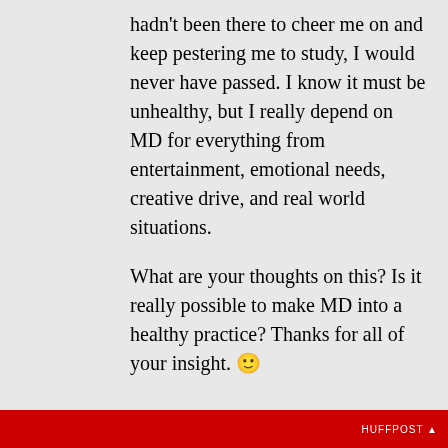hadn't been there to cheer me on and keep pestering me to study, I would never have passed. I know it must be unhealthy, but I really depend on MD for everything from entertainment, emotional needs, creative drive, and real world situations.
What are your thoughts on this? Is it really possible to make MD into a healthy practice? Thanks for all of your insight. 🙂
Privacy & Cookies: This site uses cookies. By continuing to use this website, you agree to their use. To find out more, including how to control cookies, see here: Cookie Policy
Close and accept